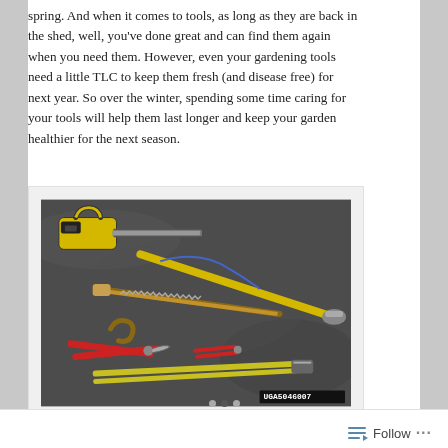spring. And when it comes to tools, as long as they are back in the shed, well, you've done great and can find them again when you need them. However, even your gardening tools need a little TLC to keep them fresh (and disease free) for next year. So over the winter, spending some time caring for your tools will help them last longer and keep your garden healthier for the next season.
[Figure (photo): A collection of gardening and cutting tools laid out on a dark concrete surface, including a yellow and black chainsaw, pruning shears, hand saw, loppers with yellow handles, red-handled pruners, and other garden tools. Image labeled UGA5046007 in bottom right corner.]